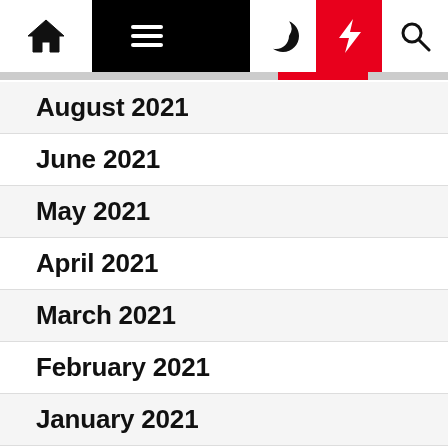Navigation bar with home, menu, dark mode, lightning, and search icons
August 2021
June 2021
May 2021
April 2021
March 2021
February 2021
January 2021
December 2020
November 2020